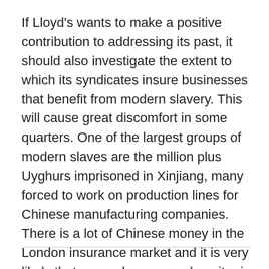If Lloyd's wants to make a positive contribution to addressing its past, it should also investigate the extent to which its syndicates insure businesses that benefit from modern slavery. This will cause great discomfort in some quarters. One of the largest groups of modern slaves are the million plus Uyghurs imprisoned in Xinjiang, many forced to work on production lines for Chinese manufacturing companies. There is a lot of Chinese money in the London insurance market and it is very likely that somewhere an underwriter is insuring a business that benefits from the brutal exploitation of the Uyghurs. Lloyd's should ferret out these connections – and many more linked to modern slavery – if it wants to hold its head high on this issue.